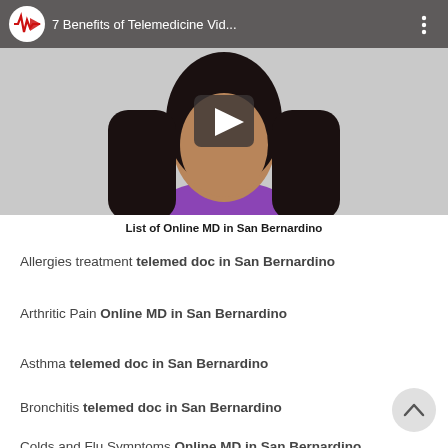[Figure (screenshot): YouTube video thumbnail showing a woman in a purple top with long dark hair, with a play button overlay. Title bar reads '7 Benefits of Telemedicine Vid...' with a medical heartbeat logo on the left and a three-dot menu on the right.]
List of Online MD in San Bernardino
Allergies treatment telemed doc in San Bernardino
Arthritic Pain Online MD in San Bernardino
Asthma telemed doc in San Bernardino
Bronchitis telemed doc in San Bernardino
Colds and Flu Symptoms Online MD in San Bernardino